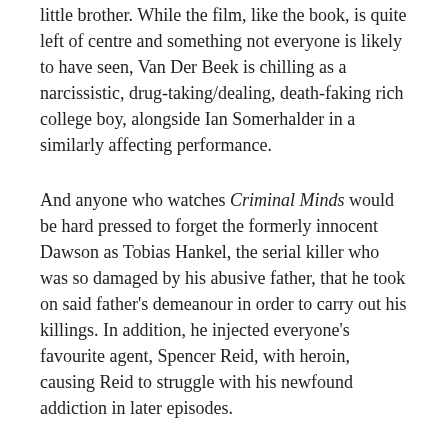little brother. While the film, like the book, is quite left of centre and something not everyone is likely to have seen, Van Der Beek is chilling as a narcissistic, drug-taking/dealing, death-faking rich college boy, alongside Ian Somerhalder in a similarly affecting performance.
And anyone who watches Criminal Minds would be hard pressed to forget the formerly innocent Dawson as Tobias Hankel, the serial killer who was so damaged by his abusive father, that he took on said father's demeanour in order to carry out his killings. In addition, he injected everyone's favourite agent, Spencer Reid, with heroin, causing Reid to struggle with his newfound addiction in later episodes.
Angus, Van Der Beek's debut film role in 1995, is a much lauded cult teen movie in which he plays the popular jock to Angus's overweight outcast. I haven't seen the film personally (I plan to watch it during my convalescence